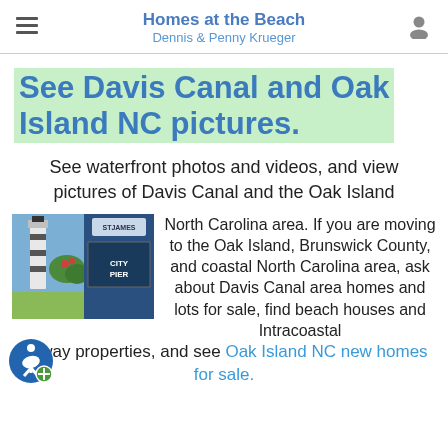Homes at the Beach
Dennis & Penny Krueger
See Davis Canal and Oak Island NC pictures.
See waterfront photos and videos, and view pictures of Davis Canal and the Oak Island
[Figure (photo): Photo collage showing a lighthouse and a City Pier sign in Oak Island, NC / St. James area]
North Carolina area. If you are moving to the Oak Island, Brunswick County, and coastal North Carolina area, ask about Davis Canal area homes and lots for sale, find beach houses and Intracoastal Waterway properties, and see Oak Island NC new homes for sale.